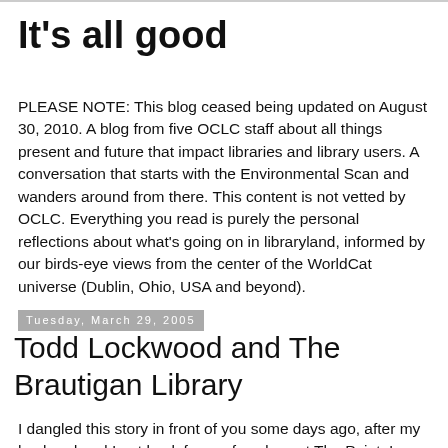It's all good
PLEASE NOTE: This blog ceased being updated on August 30, 2010. A blog from five OCLC staff about all things present and future that impact libraries and library users. A conversation that starts with the Environmental Scan and wanders around from there. This content is not vetted by OCLC. Everything you read is purely the personal reflections about what's going on in libraryland, informed by our birds-eye views from the center of the WorldCat universe (Dublin, Ohio, USA and beyond).
Tuesday, March 29, 2005
Todd Lockwood and The Brautigan Library
I dangled this story in front of you some days ago, after my husband and I got back from a few days at The Point. I